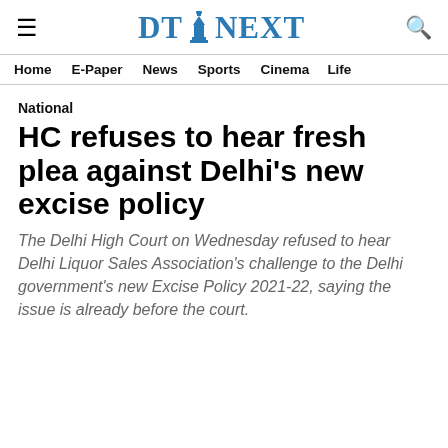DT NEXT (logo with lighthouse icon)
Home  E-Paper  News  Sports  Cinema  Life
National
HC refuses to hear fresh plea against Delhi's new excise policy
The Delhi High Court on Wednesday refused to hear Delhi Liquor Sales Association's challenge to the Delhi government's new Excise Policy 2021-22, saying the issue is already before the court.